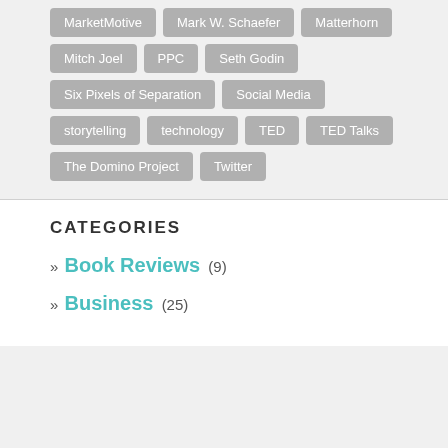MarketMotive
Mark W. Schaefer
Matterhorn
Mitch Joel
PPC
Seth Godin
Six Pixels of Separation
Social Media
storytelling
technology
TED
TED Talks
The Domino Project
Twitter
CATEGORIES
» Book Reviews (9)
» Business (25)